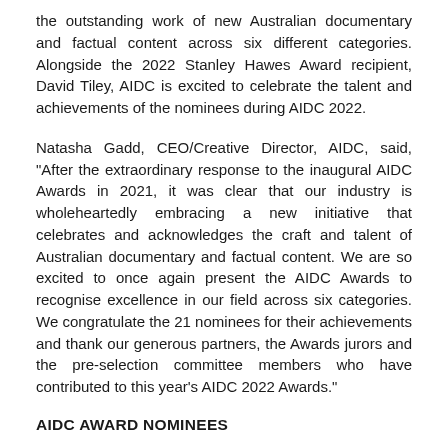the outstanding work of new Australian documentary and factual content across six different categories. Alongside the 2022 Stanley Hawes Award recipient, David Tiley, AIDC is excited to celebrate the talent and achievements of the nominees during AIDC 2022.
Natasha Gadd, CEO/Creative Director, AIDC, said, "After the extraordinary response to the inaugural AIDC Awards in 2021, it was clear that our industry is wholeheartedly embracing a new initiative that celebrates and acknowledges the craft and talent of Australian documentary and factual content. We are so excited to once again present the AIDC Awards to recognise excellence in our field across six categories. We congratulate the 21 nominees for their achievements and thank our generous partners, the Awards jurors and the pre-selection committee members who have contributed to this year's AIDC 2022 Awards."
AIDC AWARD NOMINEES